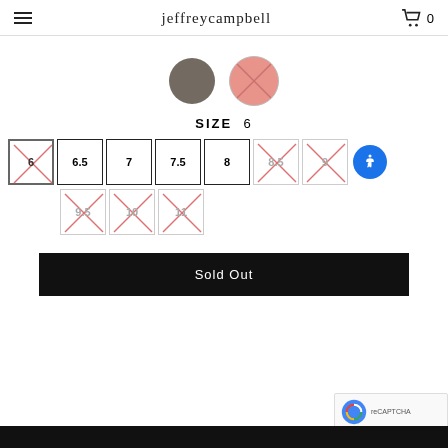jeffreycampbell
[Figure (illustration): Two color swatches: a gray/taupe circle and a pink/coral circle with an X pattern and border, representing shoe color options.]
SIZE 6
[Figure (other): Size selector grid showing sizes 6 (selected/sold out), 6.5, 7, 7.5, 8, 8.5 (sold out), 9 (sold out), 9.5 (sold out), 10 (sold out), 11 (sold out). Sold out sizes have a red X cross pattern.]
Sold Out